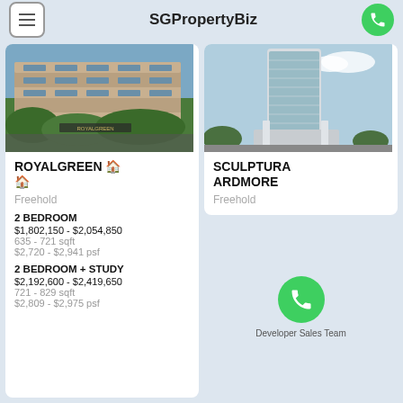SGPropertyBiz
[Figure (photo): Exterior photo of Royalgreen condominium building with lush greenery]
ROYALGREEN 🏠
Freehold
2 BEDROOM
$1,802,150 - $2,054,850
635 - 721 sqft
$2,720 - $2,941 psf
2 BEDROOM + STUDY
$2,192,600 - $2,419,650
721 - 829 sqft
$2,809 - $2,975 psf
[Figure (photo): Exterior photo of Sculptura Ardmore high-rise tower with glass facade]
SCULPTURA ARDMORE
Freehold
Developer Sales Team